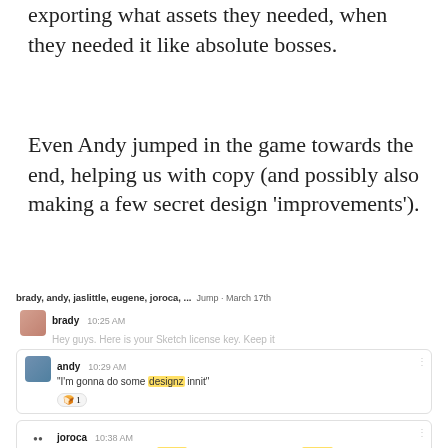exporting what assets they needed, when they needed it like absolute bosses.
Even Andy jumped in the game towards the end, helping us with copy (and possibly also making a few secret design ‘improvements’).
[Figure (screenshot): A Slack conversation screenshot showing messages from brady, andy, jaslittle, eugene, joroca and others dated March 17th. Andy says 'I'm gonna do some designz innit' with a highlighted word 'designz'. Joroca says 'Uh Oh. Andy now has sketch. No more sending empty sketch files to pretend we have work done.' with 'sketch' highlighted twice.]